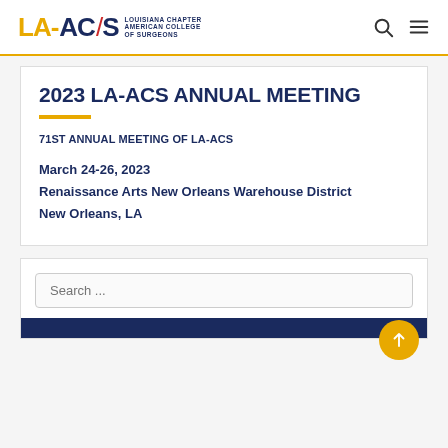LA-ACS Louisiana Chapter American College of Surgeons
2023 LA-ACS ANNUAL MEETING
71ST ANNUAL MEETING OF LA-ACS
March 24-26, 2023
Renaissance Arts New Orleans Warehouse District
New Orleans, LA